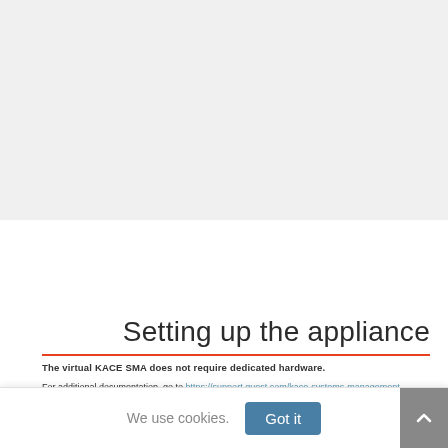[Figure (screenshot): Gray background area representing a screenshot or image area at the top of the page]
Setting up the appliance
The virtual KACE SMA does not require dedicated hardware.
For additional documentation, go to https://support.quest.com/kace-systems-management-appliance/technical-documents.
We use cookies.  Got it